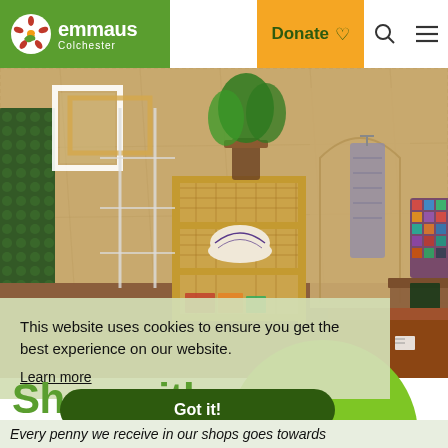emmaus Colchester | Donate
[Figure (photo): Interior of a charity shop showing a wicker/rattan shelf unit with a bowl and books, plants, picture frames, fabric panel with towel hanging, wooden furniture, and colourful cushions against OSB board walls]
This website uses cookies to ensure you get the best experience on our website.
Learn more
Got it!
Shop with us
Every penny we receive in our shops goes towards